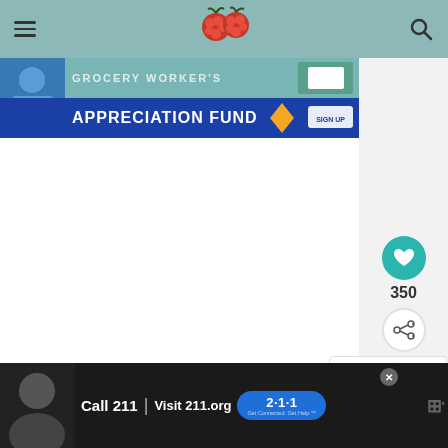[Figure (screenshot): Website screenshot showing a recipe/food blog with navigation header, Grocery Worker's Appreciation Fund banner, main content area, like (350) and share buttons, What's Next section showing Triple Chocolate..., and a bottom advertisement for Call 211 / Visit 211.org]
GROCERY WORKER'S APPRECIATION FUND
350
WHAT'S NEXT → Triple Chocolate...
Call 211 | Visit 211.org 2-1-1